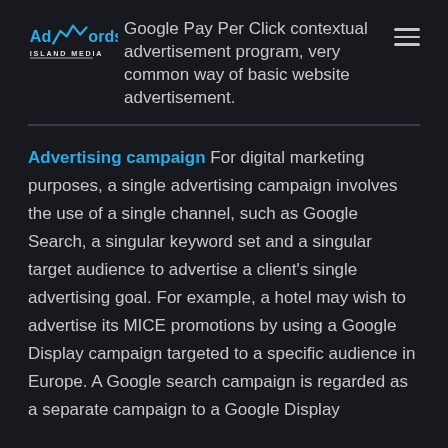[Figure (logo): Island Media AdWords logo with teal wave graphic and 'ISLAND MEDIA' text]
AdWords Google Pay Per Click contextual advertisement program, very common way of basic website advertisement.
Advertising campaign For digital marketing purposes, a single advertising campaign involves the use of a single channel, such as Google Search, a singular keyword set and a singular target audience to advertise a client's single advertising goal. For example, a hotel may wish to advertise its MICE promotions by using a Google Display campaign targeted to a specific audience in Europe. A Google search campaign is regarded as a separate campaign to a Google Display